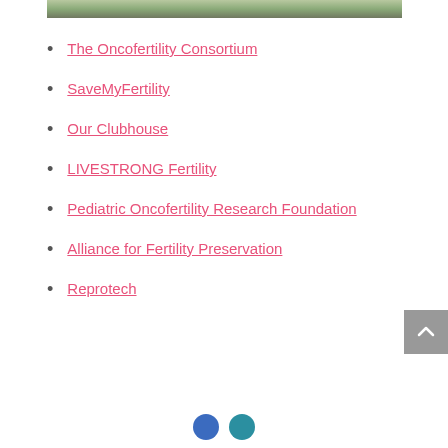[Figure (photo): Partial view of a photo strip showing a road or path with green foliage]
The Oncofertility Consortium
SaveMyFertility
Our Clubhouse
LIVESTRONG Fertility
Pediatric Oncofertility Research Foundation
Alliance for Fertility Preservation
Reprotech